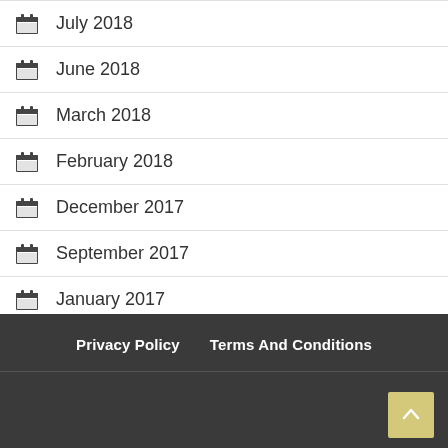July 2018
June 2018
March 2018
February 2018
December 2017
September 2017
January 2017
May 1993
Privacy Policy   Terms And Conditions